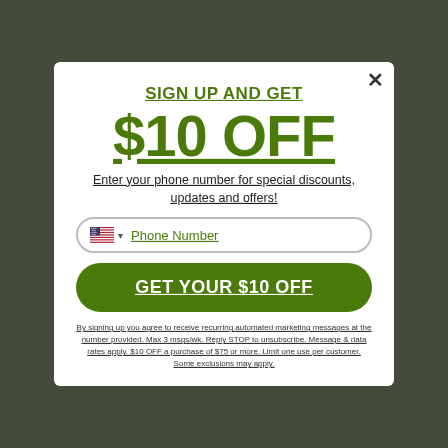[Figure (screenshot): Background website with green header and product images, partially visible behind dark overlay]
SIGN UP AND GET
$10 OFF
Enter your phone number for special discounts, updates and offers!
[Figure (other): Phone number input field with US flag dropdown and phone number placeholder text]
GET YOUR $10 OFF
By signing up you agree to receive recurring automated marketing messages at the number provided. Max 3 msgs/wk. Reply STOP to unsubscribe. Message & data rates apply. $10 OFF a purchase of $75 or more. Limit one use per customer. Some exclusions may apply.